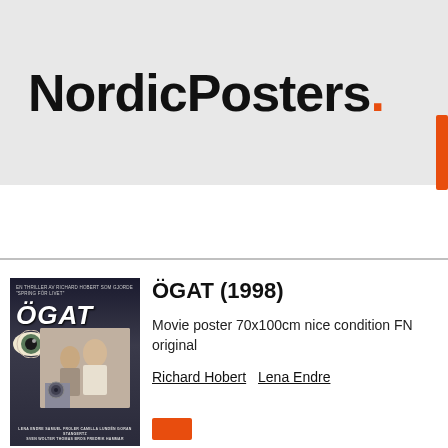NordicPosters.
[Figure (photo): Movie poster for ÖGAT (1998), showing a close-up eye with camera lens and a couple, with cast credits at bottom]
ÖGAT (1998)
Movie poster 70x100cm nice condition FN original
Richard Hobert  Lena Endre